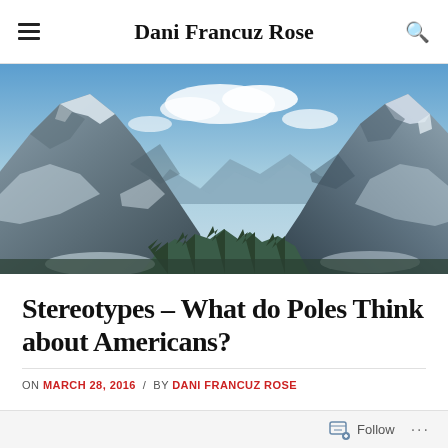Dani Francuz Rose
[Figure (photo): Panoramic mountain landscape with snow-capped peaks under a blue sky with clouds, taken from a valley showing rocky mountains on both sides converging in the distance with evergreen trees below.]
Stereotypes – What do Poles Think about Americans?
ON MARCH 28, 2016 / BY DANI FRANCUZ ROSE